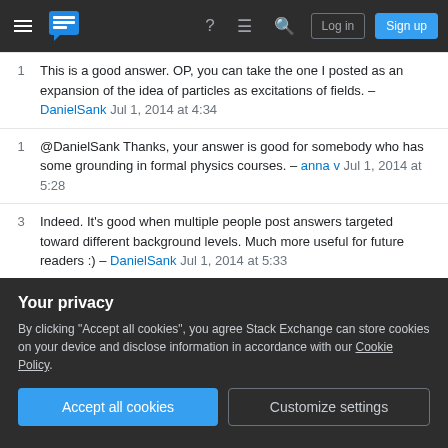Stack Exchange navigation bar with Log in and Sign up buttons
1 This is a good answer. OP, you can take the one I posted as an expansion of the idea of particles as excitations of fields. – DanielSank Jul 1, 2014 at 4:34
1 @DanielSank Thanks, your answer is good for somebody who has some grounding in formal physics courses. – anna v Jul 1, 2014 at 5:28
3 Indeed. It's good when multiple people post answers targeted toward different background levels. Much more useful for future readers :) – DanielSank Jul 1, 2014 at 5:33
What about the interacting fields? Do they not interact without supervision? – Arman Armenpress Nov 8, 2020
Your privacy
By clicking "Accept all cookies", you agree Stack Exchange can store cookies on your device and disclose information in accordance with our Cookie Policy.
[Accept all cookies] [Customize settings]
Show 8 more comments